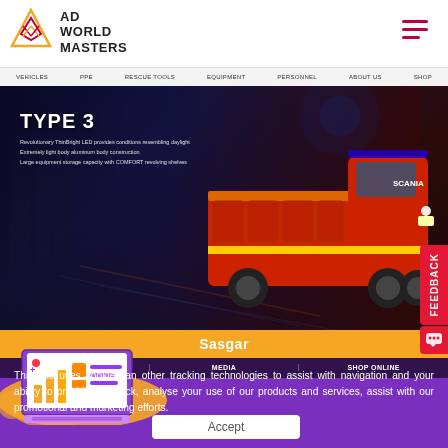[Figure (logo): Ad World Masters logo - triangle/diamond shaped icon with text AD WORLD MASTERS]
[Figure (screenshot): Screenshot of Sasgar fire truck website showing a red fire truck (TYPE 3) with navigation bar including VEHICLES, PPE, RESCUE TOOLS, EQUIPMENT, PERSONNEL, ABOUT US, SHOP. Bottom navigation shows LATEST NEWS, MEDIA, SHOP ONLINE. Orange banner below shows 'Sasgar'. Feedback tab on right side.]
[Figure (illustration): Isometric illustration of a laptop with analytics/dashboard on screen, floating on orange blob/cloud, with purple and orange color scheme]
This site uses cookies an other tracking technologies to assist with navigation and your ability to provide feedback, analyse your use of our products and services, assist with our promotional and marketing efforts.
Accept